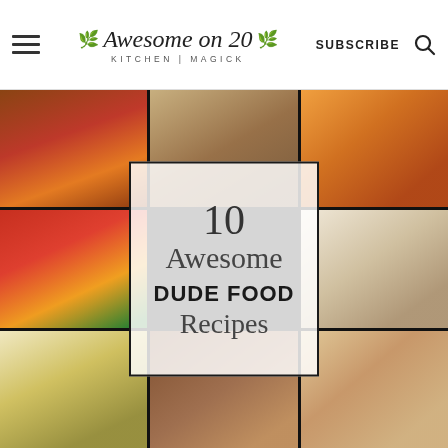Awesome on 20 KITCHEN | MAGICK — SUBSCRIBE
[Figure (photo): Collage of 9 food photos arranged in a 3x3 grid with a semi-transparent white overlay box in the center reading '10 Awesome DUDE FOOD Recipes'. Foods include: layered meat dish, crumble/mac dish, curry soup, chili pasta, dumplings/pierogies, egg on rice, bacon-wrapped item, and a burger sandwich.]
10 Awesome DUDE FOOD Recipes